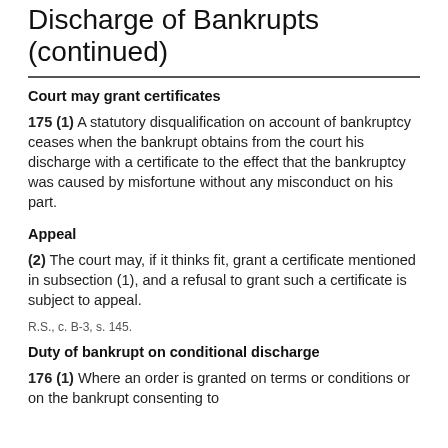Discharge of Bankrupts (continued)
Court may grant certificates
175 (1) A statutory disqualification on account of bankruptcy ceases when the bankrupt obtains from the court his discharge with a certificate to the effect that the bankruptcy was caused by misfortune without any misconduct on his part.
Appeal
(2) The court may, if it thinks fit, grant a certificate mentioned in subsection (1), and a refusal to grant such a certificate is subject to appeal.
R.S., c. B-3, s. 145.
Duty of bankrupt on conditional discharge
176 (1) Where an order is granted on terms or conditions or on the bankrupt consenting to